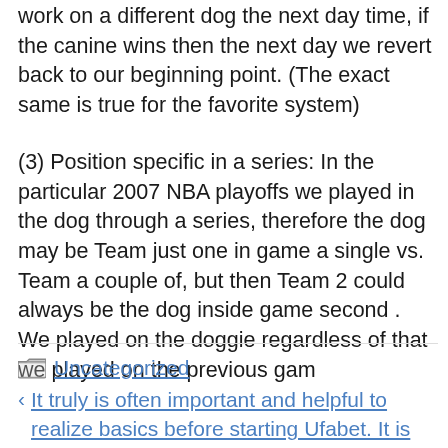work on a different dog the next day time, if the canine wins then the next day we revert back to our beginning point. (The exact same is true for the favorite system)
(3) Position specific in a series: In the particular 2007 NBA playoffs we played in the dog through a series, therefore the dog may be Team just one in game a single vs. Team a couple of, but then Team 2 could always be the dog inside game second . We played on the doggie regardless of that we played on the previous gam
Uncategorized
< It truly is often important and helpful to realize basics before starting Ufabet. It is